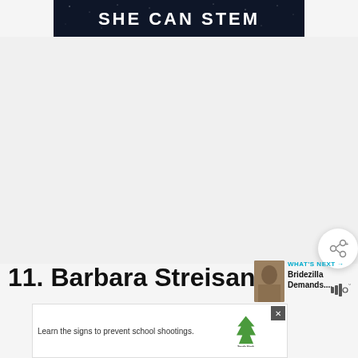[Figure (logo): SHE CAN STEM banner logo with white bold text on dark navy/black background]
[Figure (illustration): Share button icon - circular white button with share/network icon]
11. Barbara Streisand
[Figure (photo): WHAT'S NEXT panel showing thumbnail image with text 'Bridezilla Demands....']
[Figure (photo): Advertisement banner: Learn the signs to prevent school shootings. Sandy Hook Promise logo with green tree.]